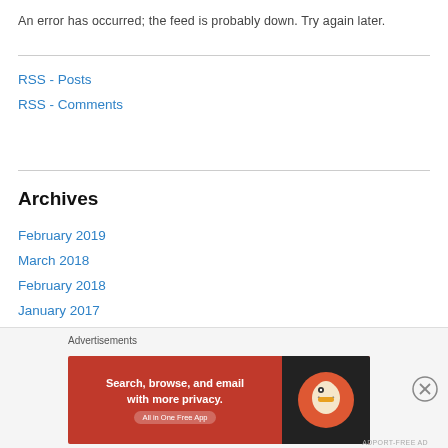An error has occurred; the feed is probably down. Try again later.
RSS - Posts
RSS - Comments
Archives
February 2019
March 2018
February 2018
January 2017
November 2016
July 2016
April 2016
[Figure (infographic): DuckDuckGo advertisement banner: 'Search, browse, and email with more privacy. All in One Free App']